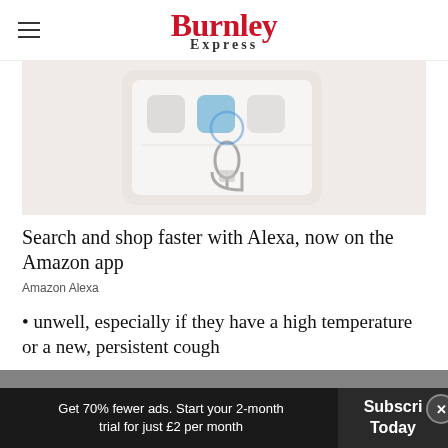Burnley Express
[Figure (photo): Close-up photo of a smartphone screen showing app icons including what appears to be voice assistant/Alexa interface]
Search and shop faster with Alexa, now on the Amazon app
Amazon Alexa
unwell, especially if they have a high temperature or a new, persistent cough
vulnerable as a result of their medication, a
Get 70% fewer ads. Start your 2-month trial for just £2 per month   Subscribe Today